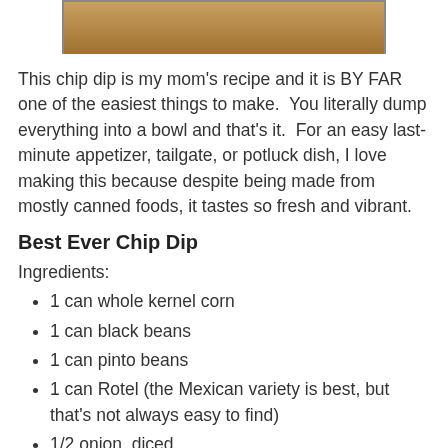[Figure (photo): Photo of chip dip in a glass bowl, partially visible at top of page]
This chip dip is my mom's recipe and it is BY FAR one of the easiest things to make.  You literally dump everything into a bowl and that's it.  For an easy last-minute appetizer, tailgate, or potluck dish, I love making this because despite being made from mostly canned foods, it tastes so fresh and vibrant.
Best Ever Chip Dip
Ingredients:
1 can whole kernel corn
1 can black beans
1 can pinto beans
1 can Rotel (the Mexican variety is best, but that's not always easy to find)
1/2 onion, diced
1/4 cup cilantro, chopped (I actually used a variety called culantro that lasts longer/stays fresher than normal cilantro)